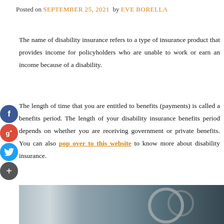Posted on SEPTEMBER 25, 2021 by EVE BORELLA
The name of disability insurance refers to a type of insurance product that provides income for policyholders who are unable to work or earn an income because of a disability.
The length of time that you are entitled to benefits (payments) is called a benefits period. The length of your disability insurance benefits period depends on whether you are receiving government or private benefits. You can also pop over to this website to know more about disability insurance.
[Figure (photo): A person in a wheelchair viewed from behind, holding the wheel, in what appears to be a corridor with bright lighting.]